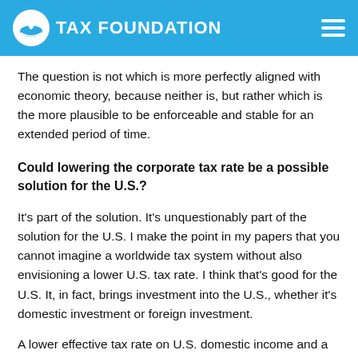TAX FOUNDATION
The question is not which is more perfectly aligned with economic theory, because neither is, but rather which is the more plausible to be enforceable and stable for an extended period of time.
Could lowering the corporate tax rate be a possible solution for the U.S.?
It's part of the solution. It's unquestionably part of the solution for the U.S. I make the point in my papers that you cannot imagine a worldwide tax system without also envisioning a lower U.S. tax rate. I think that's good for the U.S. It, in fact, brings investment into the U.S., whether it's domestic investment or foreign investment.
A lower effective tax rate on U.S. domestic income and a